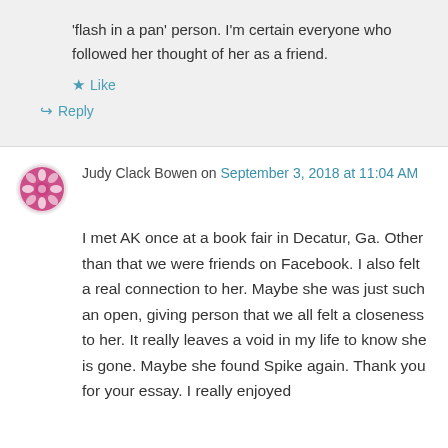'flash in a pan' person. I'm certain everyone who followed her thought of her as a friend.
Like
Reply
Judy Clack Bowen on September 3, 2018 at 11:04 AM
I met AK once at a book fair in Decatur, Ga. Other than that we were friends on Facebook. I also felt a real connection to her. Maybe she was just such an open, giving person that we all felt a closeness to her. It really leaves a void in my life to know she is gone. Maybe she found Spike again. Thank you for your essay. I really enjoyed